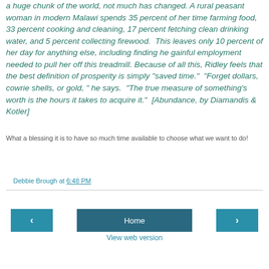a huge chunk of the world, not much has changed. A rural peasant woman in modern Malawi spends 35 percent of her time farming food, 33 percent cooking and cleaning, 17 percent fetching clean drinking water, and 5 percent collecting firewood.  This leaves only 10 percent of her day for anything else, including finding he gainful employment needed to pull her off this treadmill. Because of all this, Ridley feels that the best definition of prosperity is simply "saved time."  "Forget dollars, cowrie shells, or gold, " he says.  "The true measure of something's worth is the hours it takes to acquire it."  [Abundance, by Diamandis & Kotler]
What a blessing it is to have so much time available to choose what we want to do!
Debbie Brough at 6:48 PM
Home
View web version